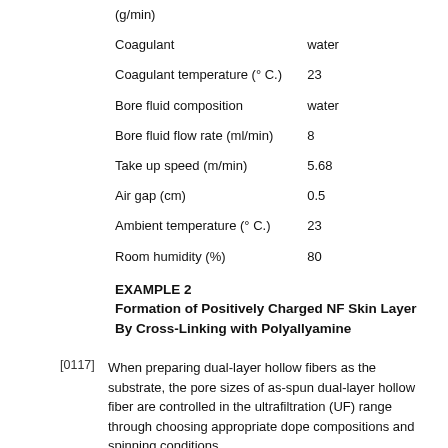| Parameter | Value |
| --- | --- |
| (g/min) |  |
| Coagulant | water |
| Coagulant temperature (° C.) | 23 |
| Bore fluid composition | water |
| Bore fluid flow rate (ml/min) | 8 |
| Take up speed (m/min) | 5.68 |
| Air gap (cm) | 0.5 |
| Ambient temperature (° C.) | 23 |
| Room humidity (%) | 80 |
EXAMPLE 2
Formation of Positively Charged NF Skin Layer By Cross-Linking with Polyallyamine
[0117] When preparing dual-layer hollow fibers as the substrate, the pore sizes of as-spun dual-layer hollow fiber are controlled in the ultrafiltration (UF) range through choosing appropriate dope compositions and spinning conditions.